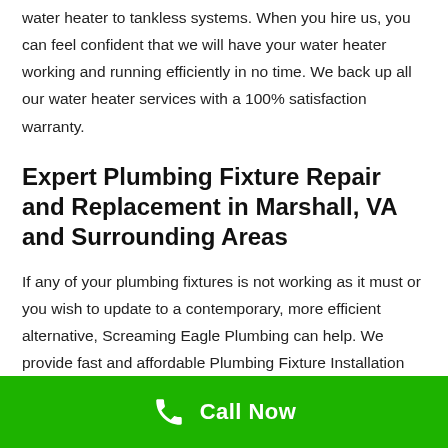water heater to tankless systems. When you hire us, you can feel confident that we will have your water heater working and running efficiently in no time. We back up all our water heater services with a 100% satisfaction warranty.
Expert Plumbing Fixture Repair and Replacement in Marshall, VA and Surrounding Areas
If any of your plumbing fixtures is not working as it must or you wish to update to a contemporary, more efficient alternative, Screaming Eagle Plumbing can help. We provide fast and affordable Plumbing Fixture Installation and Repair services in Marshall, VA and surrounding locations. We've been installing and fixing toilets, sinks, faucets and other plumbing components for
Call Now